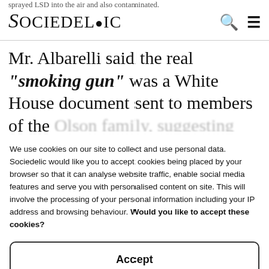sprayed LSD into the air and also contaminated...
Mr. Albarelli said the real "smoking gun" was a White House document sent to members of the
We use cookies on our site to collect and use personal data. Sociedelic would like you to accept cookies being placed by your browser so that it can analyse website traffic, enable social media features and serve you with personalised content on site. This will involve the processing of your personal information including your IP address and browsing behaviour. Would you like to accept these cookies?
Accept
Cookie Policy   Privacy Policy